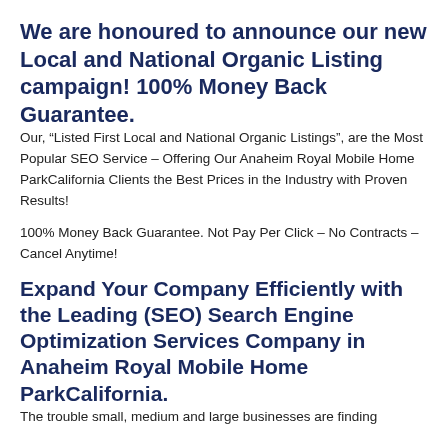We are honoured to announce our new Local and National Organic Listing campaign! 100% Money Back Guarantee.
Our, “Listed First Local and National Organic Listings”, are the Most Popular SEO Service – Offering Our Anaheim Royal Mobile Home ParkCalifornia Clients the Best Prices in the Industry with Proven Results!
100% Money Back Guarantee. Not Pay Per Click – No Contracts – Cancel Anytime!
Expand Your Company Efficiently with the Leading (SEO) Search Engine Optimization Services Company in Anaheim Royal Mobile Home ParkCalifornia.
The trouble small, medium and large businesses are finding…